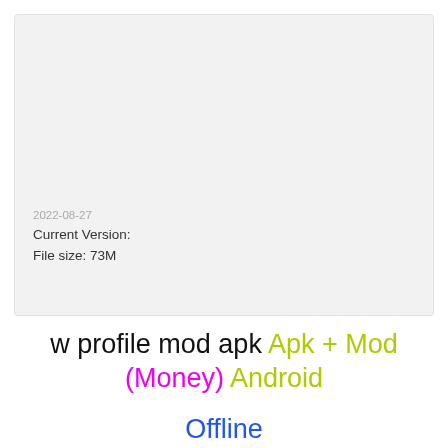[Figure (screenshot): Light gray card/panel area with date and file info]
2022-08-27
Current Version:
File size: 73M
w profile mod apk Apk + Mod (Money) Android
Offline